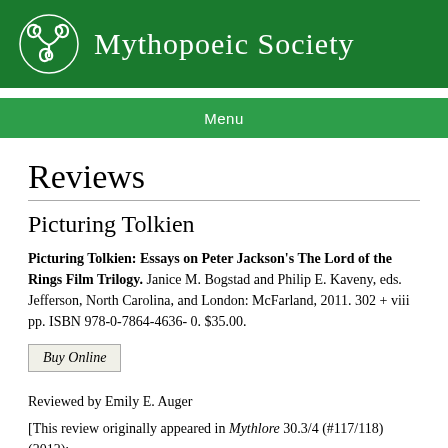Mythopoeic Society
Reviews
Picturing Tolkien
Picturing Tolkien: Essays on Peter Jackson's The Lord of the Rings Film Trilogy. Janice M. Bogstad and Philip E. Kaveny, eds. Jefferson, North Carolina, and London: McFarland, 2011. 302 + viii pp. ISBN 978-0-7864-4636- 0. $35.00.
Buy Online
Reviewed by Emily E. Auger
[This review originally appeared in Mythlore 30.3/4 (#117/118) (2012):